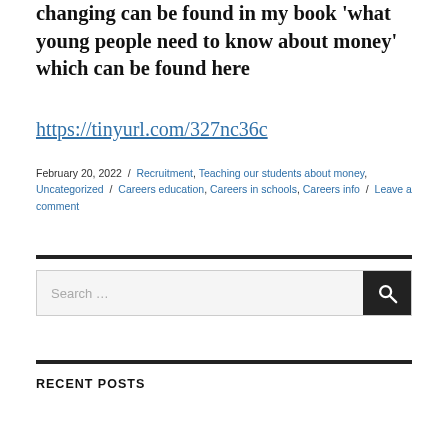changing can be found in my book 'what young people need to know about money' which can be found here
https://tinyurl.com/327nc36c
February 20, 2022 / Recruitment, Teaching our students about money, Uncategorized / Careers education, Careers in schools, Careers info / Leave a comment
Search …
RECENT POSTS